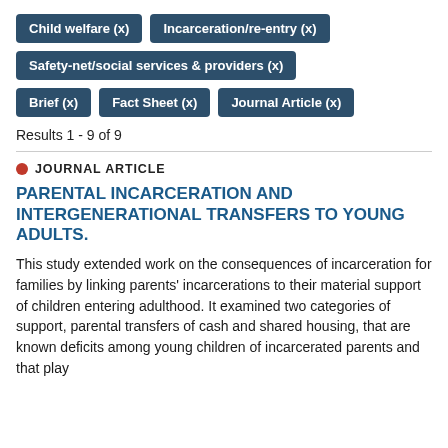Child welfare (x)
Incarceration/re-entry (x)
Safety-net/social services & providers (x)
Brief (x)
Fact Sheet (x)
Journal Article (x)
Results 1 - 9 of 9
JOURNAL ARTICLE
PARENTAL INCARCERATION AND INTERGENERATIONAL TRANSFERS TO YOUNG ADULTS.
This study extended work on the consequences of incarceration for families by linking parents' incarcerations to their material support of children entering adulthood. It examined two categories of support, parental transfers of cash and shared housing, that are known deficits among young children of incarcerated parents and that play